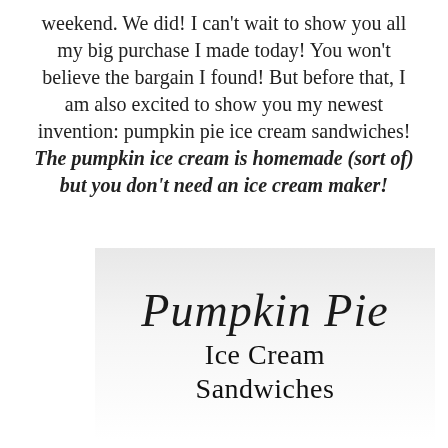weekend. We did! I can't wait to show you all my big purchase I made today! You won't believe the bargain I found! But before that, I am also excited to show you my newest invention: pumpkin pie ice cream sandwiches! The pumpkin ice cream is homemade (sort of) but you don't need an ice cream maker!
[Figure (illustration): Decorative script text reading 'Pumpkin Pie Ice Cream Sandwiches' on a light grey gradient background]